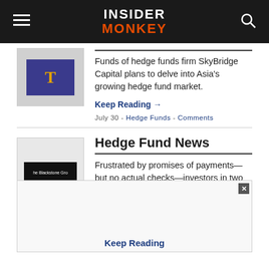INSIDER MONKEY
Funds of hedge funds firm SkyBridge Capital plans to delve into Asia's growing hedge fund market.
Keep Reading →
July 30 - Hedge Funds - Comments
Hedge Fund News
Frustrated by promises of payments—but no actual checks—investors in two Oregon hedge funds have expanded the scope of their
Keep Reading